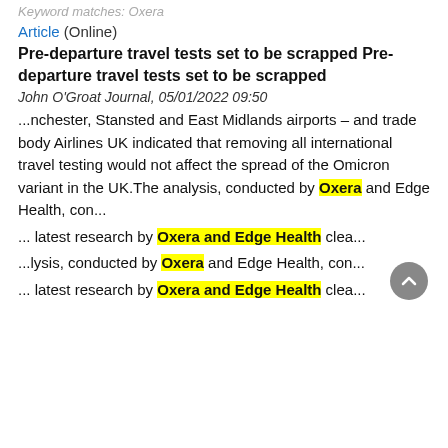Keyword matches: Oxera
Article (Online)
Pre-departure travel tests set to be scrapped Pre-departure travel tests set to be scrapped
John O'Groat Journal, 05/01/2022 09:50
...nchester, Stansted and East Midlands airports – and trade body Airlines UK indicated that removing all international travel testing would not affect the spread of the Omicron variant in the UK.The analysis, conducted by Oxera and Edge Health, con...
... latest research by Oxera and Edge Health clea...
...lysis, conducted by Oxera and Edge Health, con...
... latest research by Oxera and Edge Health clea...